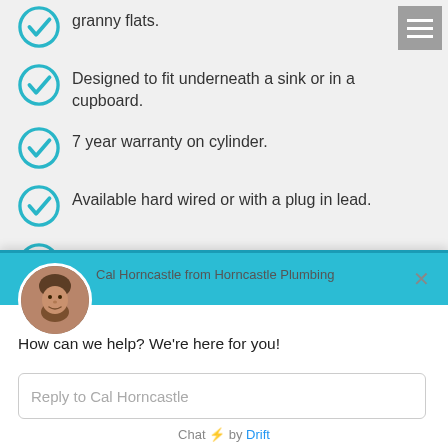granny flats.
Designed to fit underneath a sink or in a cupboard.
7 year warranty on cylinder.
Available hard wired or with a plug in lead.
Dual handed design for faster and quicker installation.
Same day installation available.
[Figure (screenshot): Chat widget from Horncastle Plumbing showing Cal Horncastle avatar, greeting message, reply input box, and Drift branding]
Cal Horncastle from Horncastle Plumbing
How can we help? We're here for you!
Reply to Cal Horncastle
Chat ⚡ by Drift